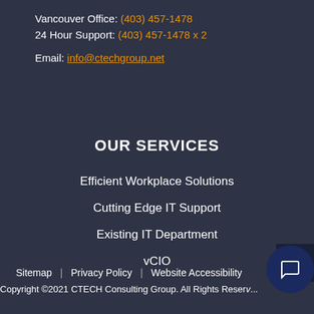Vancouver Office: (403) 457-1478
24 Hour Support: (403) 457-1478 x 2
Email: info@ctechgroup.net
OUR SERVICES
Efficient Workplace Solutions
Cutting Edge IT Support
Existing IT Department
vCIO
Sitemap | Privacy Policy | Website Accessibility
Copyright ©2021 CTECH Consulting Group. All Rights Reserved.